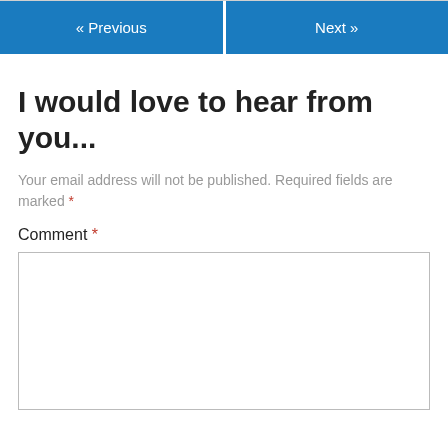« Previous   Next »
I would love to hear from you...
Your email address will not be published. Required fields are marked *
Comment *